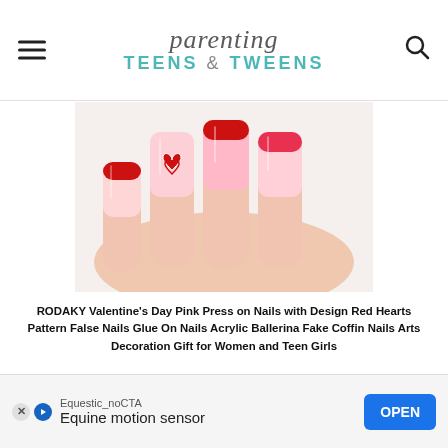parenting TEENS & TWEENS
[Figure (photo): Close-up photo of a hand with long acrylic coffin-shaped nails in pink and red ombre style, with a red heart pattern design on one nail against a white fur background.]
RODAKY Valentine's Day Pink Press on Nails with Design Red Hearts Pattern False Nails Glue On Nails Acrylic Ballerina Fake Coffin Nails Arts Decoration Gift for Women and Teen Girls
[Figure (photo): Product image showing a pink background with black doodle-style Valentine's Day pattern including hearts, arrows, envelopes, and the word 'love'.]
Equestic_noCTA  Equine motion sensor  OPEN